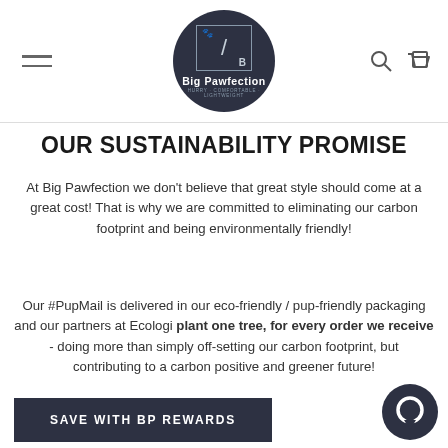Big Pawfection navigation header with hamburger menu, logo, search and cart icons
OUR SUSTAINABILITY PROMISE
At Big Pawfection we don't believe that great style should come at a great cost! That is why we are committed to eliminating our carbon footprint and being environmentally friendly!
Our #PupMail is delivered in our eco-friendly / pup-friendly packaging and our partners at Ecologi plant one tree, for every order we receive - doing more than simply off-setting our carbon footprint, but contributing to a carbon positive and greener future!